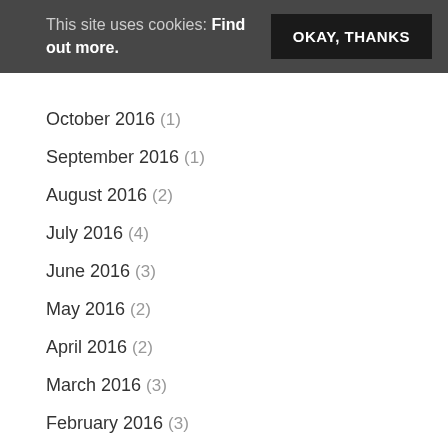This site uses cookies: Find out more. [OKAY, THANKS button]
October 2016 (1)
September 2016 (1)
August 2016 (2)
July 2016 (4)
June 2016 (3)
May 2016 (2)
April 2016 (2)
March 2016 (3)
February 2016 (3)
January 2016 (2)
December 2015 (3)
October 2015 (1)
September 2015 (1)
August 2015 (1)
July 2015 (5)